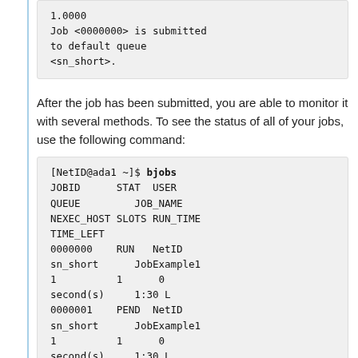1.0000
Job <0000000> is submitted to default queue <sn_short>.
After the job has been submitted, you are able to monitor it with several methods. To see the status of all of your jobs, use the following command:
[NetID@ada1 ~]$ bjobs
JOBID      STAT  USER QUEUE         JOB_NAME NEXEC_HOST SLOTS RUN_TIME TIME_LEFT
0000000    RUN   NetID sn_short      JobExample1 1          1     0 second(s)     1:30 L
0000001    PEND  NetID sn_short      JobExample1 1          1     0 second(s)     1:30 L